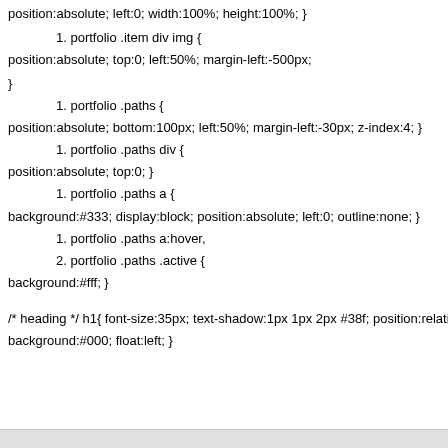position:absolute; left:0; width:100%; height:100%; }
1. portfolio .item div img {
position:absolute; top:0; left:50%; margin-left:-500px;
}
1. portfolio .paths {
position:absolute; bottom:100px; left:50%; margin-left:-30px; z-index:4; }
1. portfolio .paths div {
position:absolute; top:0; }
1. portfolio .paths a {
background:#333; display:block; position:absolute; left:0; outline:none; }
1. portfolio .paths a:hover,
2. portfolio .paths .active {
background:#fff; }
/* heading */ h1{ font-size:35px; text-shadow:1px 1px 2px #38f; position:relative; background:#000; float:left; }